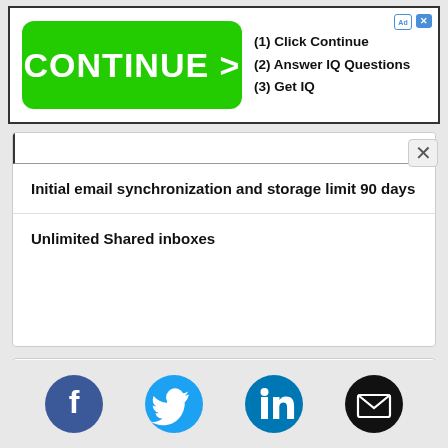[Figure (screenshot): Advertisement banner with green CONTINUE > button and text: (1) Click Continue, (2) Answer IQ Questions, (3) Get IQ]
Initial email synchronization and storage limit 90 days
Unlimited Shared inboxes
Key Employees
[Figure (infographic): Social media icons row: Facebook (blue circle), Twitter (light blue circle), LinkedIn (blue circle), Email (black circle with envelope)]